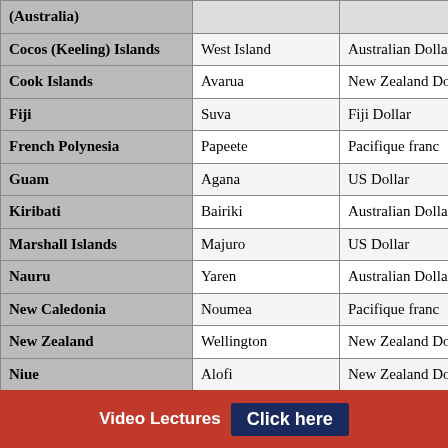| Country | Capital | Currency |
| --- | --- | --- |
| (Australia) |  |  |
| Cocos (Keeling) Islands | West Island | Australian Dollar |
| Cook Islands | Avarua | New Zealand Dollar |
| Fiji | Suva | Fiji Dollar |
| French Polynesia | Papeete | Pacifique franc |
| Guam | Agana | US Dollar |
| Kiribati | Bairiki | Australian Dollar |
| Marshall Islands | Majuro | US Dollar |
| Nauru | Yaren | Australian Dollar |
| New Caledonia | Noumea | Pacifique franc |
| New Zealand | Wellington | New Zealand Dollar |
| Niue | Alofi | New Zealand Dollar |
| Norfolk Island | Kingston | Australian Dollar |
Video Lectures  Click here